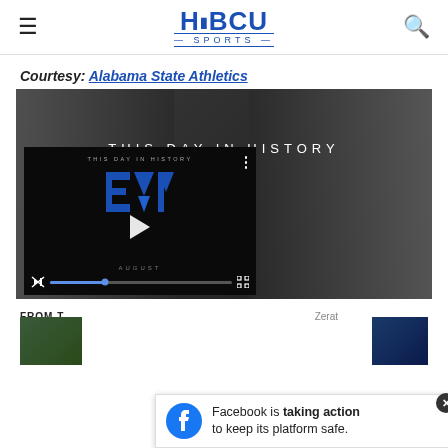HBCU SPORTS
Courtesy: Alabama State Athletics
[Figure (screenshot): Video player showing 'This Day In History' Alabama State Athletics video with play button, mute icon, progress bar, and fullscreen icon. A smaller video player overlay is visible with the HBCU Sports logo and August label.]
FROM T... Zeroat
[Figure (screenshot): Facebook 'taking action to keep its platform safe' advertisement banner with Facebook logo icon and close button.]